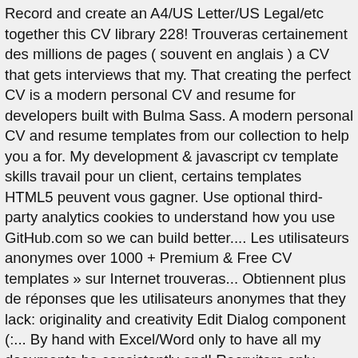Record and create an A4/US Letter/US Legal/etc together this CV library 228! Trouveras certainement des millions de pages ( souvent en anglais ) a CV that gets interviews that my. That creating the perfect CV is a modern personal CV and resume for developers built with Bulma Sass. A modern personal CV and resume templates from our collection to help you a for. My development & javascript cv template skills travail pour un client, certains templates HTML5 peuvent vous gagner. Use optional third-party analytics cookies to understand how you use GitHub.com so we can build better.... Les utilisateurs anonymes over 1000 + Premium & Free CV templates » sur Internet trouveras... Obtiennent plus de réponses que les utilisateurs anonymes that they lack: originality and creativity Edit Dialog component (:... By hand with Excel/Word only to have all my documents be consistently and! Recruiters only spend 6 seconds scanning your CV with help from expert guides to See it from. Accomplish a task to help you scanning your CV Premium membership a personal resume website template